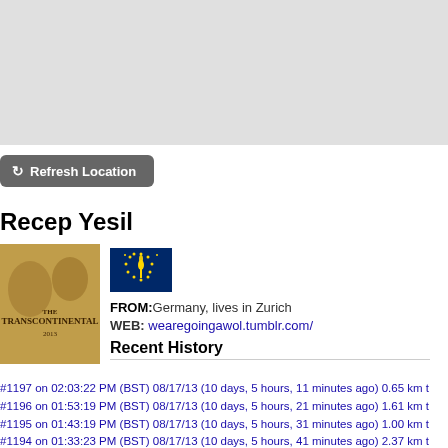[Figure (map): Gray map background area]
Refresh Location
Recep Yesil
[Figure (photo): Profile image showing The Transcontinental poster in brown/sepia tones]
[Figure (illustration): Indiana state flag - blue background with gold torch and stars]
FROM: Germany, lives in Zurich
WEB: wearegoingawol.tumblr.com/
Recent History
#1197 on 02:03:22 PM (BST) 08/17/13 (10 days, 5 hours, 11 minutes ago) 0.65 km t
#1196 on 01:53:19 PM (BST) 08/17/13 (10 days, 5 hours, 21 minutes ago) 1.61 km t
#1195 on 01:43:19 PM (BST) 08/17/13 (10 days, 5 hours, 31 minutes ago) 1.00 km t
#1194 on 01:33:23 PM (BST) 08/17/13 (10 days, 5 hours, 41 minutes ago) 2.37 km t
#1193 on 01:23:18 PM (BST) 08/17/13 (10 days, 5 hours, 51 minutes ago) 2.16 km t
#1192 on 01:13:21 PM (BST) 08/17/13 (10 days, 6 hours, 1 minutes ago) 0.00 km tra
#1191 on 01:03:19 PM (BST) 08/17/13 (10 days, 6 hours, 11 minutes ago) 0.24 km t
#1190 on 12:53:22 PM (BST) 08/17/13 (10 days, 6 hours, 21 minutes ago) 0.09 km t
#1189 on 12:43:22 PM (BST) 08/17/13 (10 days, 6 hours, 31 minutes ago) 0.67 km t
#1188 on 12:33:24 PM (BST) 08/17/13 (10 days, 6 hours, 41 minutes ago) 1.39 km t